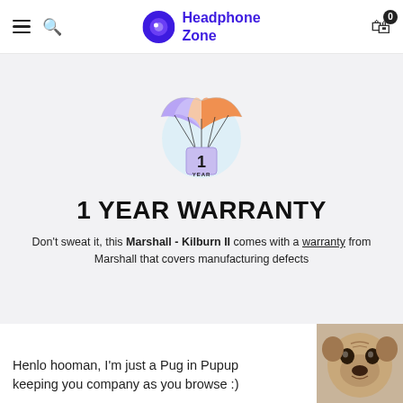Headphone Zone
[Figure (illustration): A parachute illustration carrying a package labeled '1 YEAR' in a light blue circle, with colorful purple, peach and orange canopy segments]
1 YEAR WARRANTY
Don't sweat it, this Marshall - Kilburn II comes with a warranty from Marshall that covers manufacturing defects
Henlo hooman, I'm just a Pug in Pupup keeping you company as you browse :)
[Figure (photo): Photo of a pug dog looking at camera]